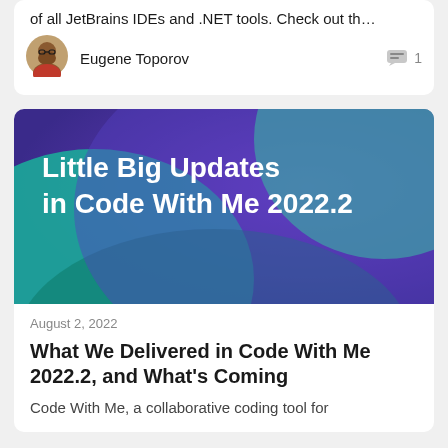of all JetBrains IDEs and .NET tools. Check out th…
Eugene Toporov
[Figure (photo): Avatar photo of Eugene Toporov, a person with beard and glasses]
[Figure (illustration): Hero image for article 'Little Big Updates in Code With Me 2022.2' — abstract curves in shades of blue, teal, and green with white text overlay]
August 2, 2022
What We Delivered in Code With Me 2022.2, and What's Coming
Code With Me, a collaborative coding tool for